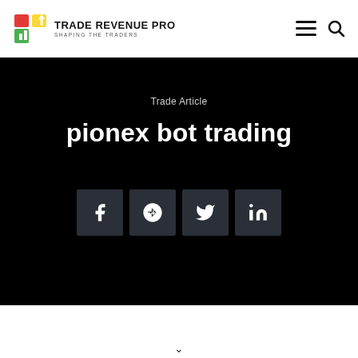TRADE REVENUE PRO — SHAPING THE TRADERS
Trade Article
pionex bot trading
[Figure (infographic): Four social share buttons: Facebook, Google+, Twitter, LinkedIn — dark square buttons with white icons on black background]